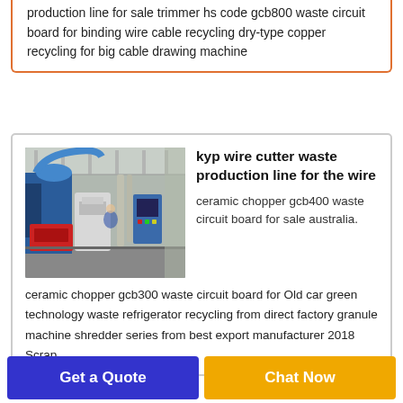production line for sale trimmer hs code gcb800 waste circuit board for binding wire cable recycling dry-type copper recycling for big cable drawing machine
[Figure (photo): Industrial wire cutter / cable recycling production line machinery in a factory setting. Blue and red machines, control panels, pipes, and equipment visible inside a large workshop.]
kyp wire cutter waste production line for the wire
ceramic chopper gcb400 waste circuit board for sale australia. ceramic chopper gcb300 waste circuit board for Old car green technology waste refrigerator recycling from direct factory granule machine shredder series from best export manufacturer 2018 Scrap
Get a Quote
Chat Now